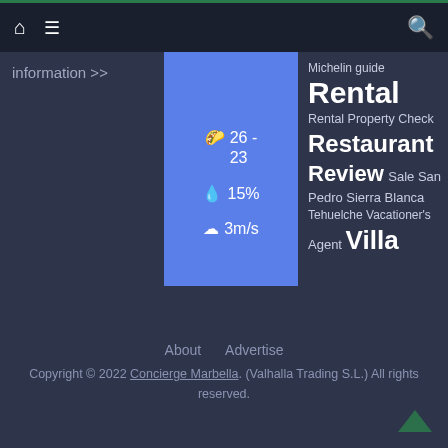Home | Menu | Search
information >>
[Figure (infographic): Blue weather widget showing temperature 26-23, precipitation 15%, wind 3m/s]
Michelin guide Rental Rental Property Check Restaurant Review Sale San Pedro Sierra Blanca Tehuelche Vacationer's Agent Villa
About   Advertise
Copyright © 2022 Concierge Marbella. (Valhalla Trading S.L.) All rights reserved.